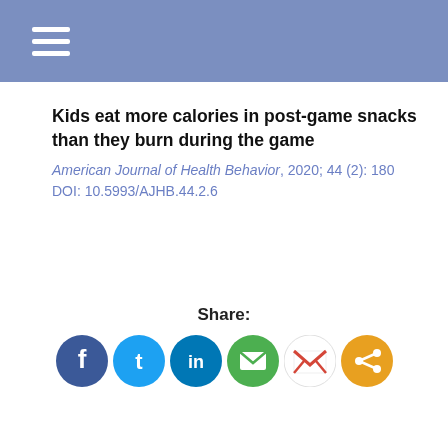Kids eat more calories in post-game snacks than they burn during the game
American Journal of Health Behavior, 2020; 44 (2): 180
DOI: 10.5993/AJHB.44.2.6
[Figure (other): Social share buttons: Facebook, Twitter, LinkedIn, Email, Gmail, Share]